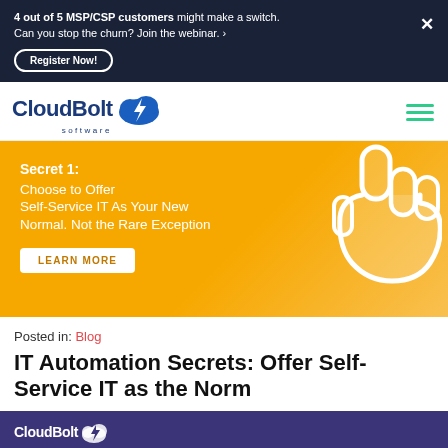4 out of 5 MSP/CSP customers might make a switch. Can you stop the churn? Join the webinar. › Register Now!
[Figure (logo): CloudBolt Software logo with cloud and lightning bolt icon]
[Figure (infographic): Orange promotional card: Secret 1: Choose to Offer Self-Service IT As Your New Normal. Not the Rare Exception. LEARN MORE button. Hand pointer icon on right.]
Posted in: Blog
IT Automation Secrets: Offer Self-Service IT as the Norm
[Figure (logo): CloudBolt Software logo on dark purple background, partially visible at bottom]